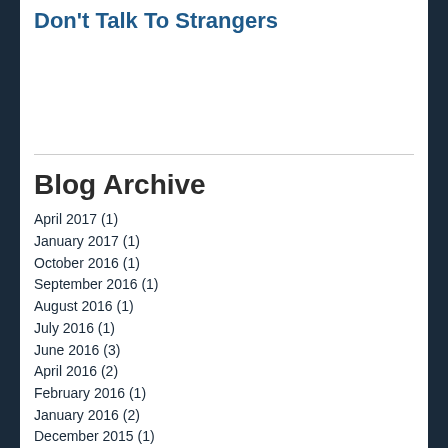Don't Talk To Strangers
Blog Archive
April 2017 (1)
January 2017 (1)
October 2016 (1)
September 2016 (1)
August 2016 (1)
July 2016 (1)
June 2016 (3)
April 2016 (2)
February 2016 (1)
January 2016 (2)
December 2015 (1)
November 2015 (2)
October 2015 (2)
August 2015 (1)